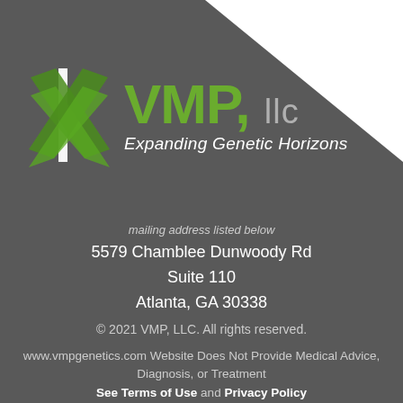[Figure (logo): VMP, llc logo with green DNA/cross icon and tagline 'Expanding Genetic Horizons']
mailing address listed below
5579 Chamblee Dunwoody Rd
Suite 110
Atlanta, GA 30338
© 2021 VMP, LLC. All rights reserved.
www.vmpgenetics.com Website Does Not Provide Medical Advice, Diagnosis, or Treatment
See Terms of Use and Privacy Policy